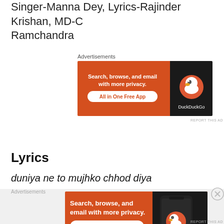Singer-Manna Dey, Lyrics-Rajinder Krishan, MD-C Ramchandra
[Figure (other): DuckDuckGo advertisement banner - orange background with text 'Search, browse, and email with more privacy. All in One Free App' and DuckDuckGo logo]
Lyrics
duniya ne to mujhko chhod diya
khoob kiya
arey khoob kiya
botal ki taraf munh mod diya
botal ki taraf munh mod diya
[Figure (other): DuckDuckGo advertisement banner - orange background with phone image, text 'Search, browse, and email with more privacy. All in One Free App' and DuckDuckGo logo]